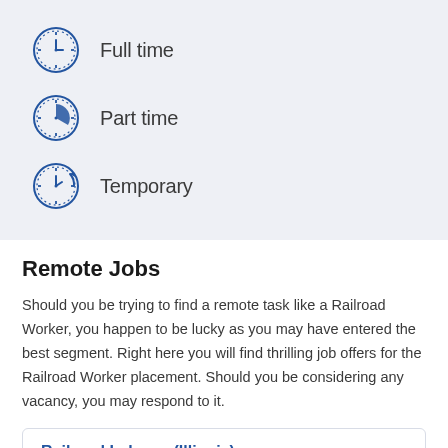[Figure (illustration): Three clock icons with labels: Full time (standard clock), Part time (clock with pie slice), Temporary (clock with arrow)]
Remote Jobs
Should you be trying to find a remote task like a Railroad Worker, you happen to be lucky as you may have entered the best segment. Right here you will find thrilling job offers for the Railroad Worker placement. Should you be considering any vacancy, you may respond to it.
Railroad Laborer (Illinois)